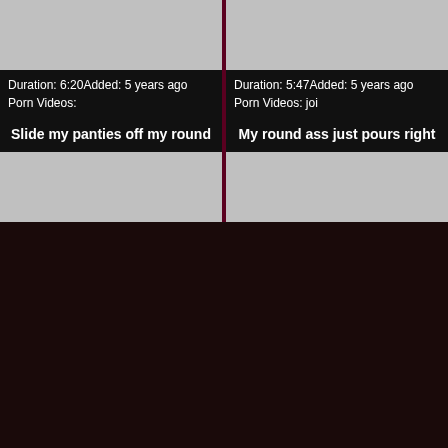[Figure (screenshot): Gray thumbnail placeholder for video top-left]
Duration: 6:20Added: 5 years ago
Porn Videos:
Slide my panties off my round
[Figure (screenshot): Gray thumbnail placeholder for video bottom-left]
[Figure (screenshot): Gray thumbnail placeholder for video top-right]
Duration: 5:47Added: 5 years ago
Porn Videos: joi
My round ass just pours right
[Figure (screenshot): Gray thumbnail placeholder for video bottom-right]